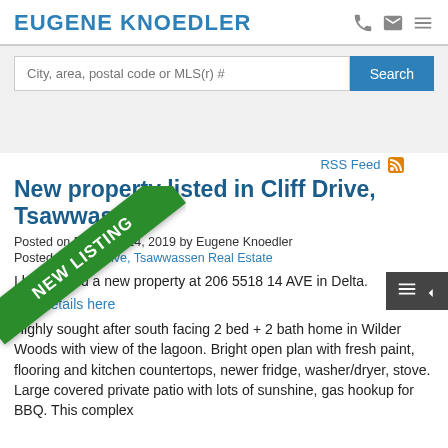EUGENE KNOEDLER
City, area, postal code or MLS(r) #  Search
RSS Feed
New property listed in Cliff Drive, Tsawwassen
Posted on February 14, 2019 by Eugene Knoedler
Posted in: Cliff Drive, Tsawwassen Real Estate
I have listed a new property at 206 5518 14 AVE in Delta.
See details here
Highly sought after south facing 2 bed + 2 bath home in Wilder Woods with view of the lagoon. Bright open plan with fresh paint, flooring and kitchen countertops, newer fridge, washer/dryer, stove. Large covered private patio with lots of sunshine, gas hookup for BBQ. This complex